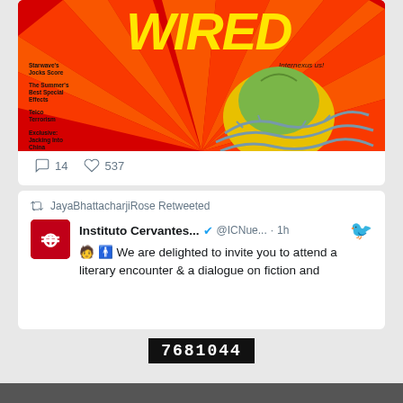[Figure (screenshot): WIRED magazine cover showing stylized title 'WIRED' with sunburst rays and an Apple logo wrapped in barbed wire. Sidebar text includes: Starwave's Jocks Score, The Summer's Best Special Effects, Telco Terrorism, Exclusive: Jacking Into China. Top right: Internexus us!]
14  537
JayaBhattacharjiRose Retweeted
Instituto Cervantes... @ICNue... · 1h
🧑‍🦱 🚹 We are delighted to invite you to attend a literary encounter & a dialogue on fiction and
7681044